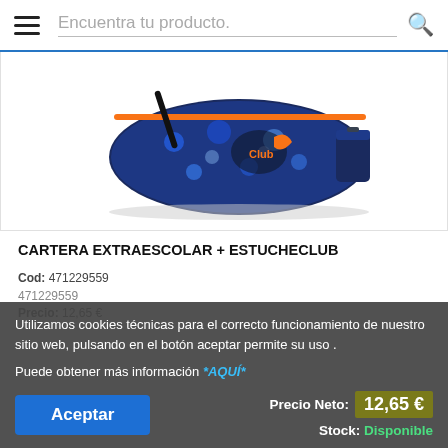Encuentra tu producto.
[Figure (photo): Blue floral pattern crossbody bag with orange zipper and a matching small case/pouch, product photo on white background]
CARTERA EXTRAESCOLAR + ESTUCHECLUB
Cod: 471229559
Precio: 12,65 €
Utilizamos cookies técnicas para el correcto funcionamiento de nuestro sitio web, pulsando en el botón aceptar permite su uso . Puede obtener más información *AQUÍ*
Precio Neto: 12,65 €
Stock: Disponible